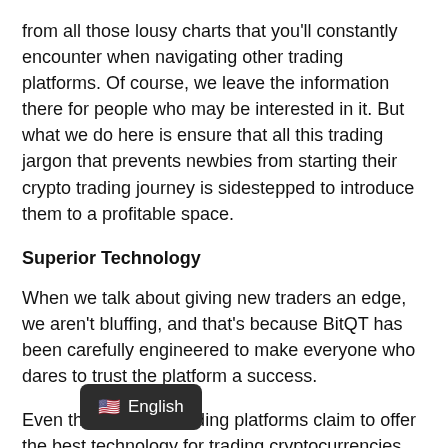from all those lousy charts that you'll constantly encounter when navigating other trading platforms. Of course, we leave the information there for people who may be interested in it. But what we do here is ensure that all this trading jargon that prevents newbies from starting their crypto trading journey is sidestepped to introduce them to a profitable space.
Superior Technology
When we talk about giving new traders an edge, we aren't bluffing, and that's because BitQT has been carefully engineered to make everyone who dares to trust the platform a success.
Even though other trading platforms claim to offer the best technology for trading cryptocurrencies, commodities and stocks successfully, BitQT has displayed its superiority over and o
[Figure (other): Language selector tooltip overlay showing a US flag emoji and the text 'English' on a dark rounded rectangle background]